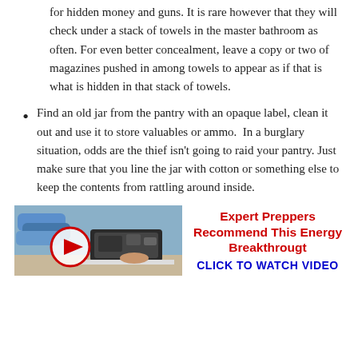for hidden money and guns. It is rare however that they will check under a stack of towels in the master bathroom as often. For even better concealment, leave a copy or two of magazines pushed in among towels to appear as if that is what is hidden in that stack of towels.
Find an old jar from the pantry with an opaque label, clean it out and use it to store valuables or ammo.  In a burglary situation, odds are the thief isn't going to raid your pantry. Just make sure that you line the jar with cotton or something else to keep the contents from rattling around inside.
[Figure (other): Advertisement image showing a generator with a video play button overlay, alongside text promoting an energy breakthrough video by expert preppers.]